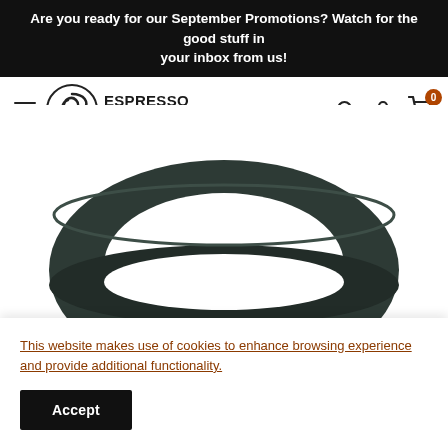Are you ready for our September Promotions? Watch for the good stuff in your inbox from us!
[Figure (logo): Espresso Parts logo with swirl graphic and bold text reading ESPRESSO PARTS]
[Figure (photo): Black rubber group head gasket/seal ring for espresso machine, viewed from above at slight angle, oval ring shape on white background]
This website makes use of cookies to enhance browsing experience and provide additional functionality.
Accept